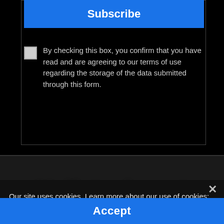[Figure (screenshot): Subscribe button - blue rounded rectangle with white bold text 'Subscribe']
By checking this box, you confirm that you have read and are agreeing to our terms of use regarding the storage of the data submitted through this form.
[Figure (logo): Naijatechspot logo text in dark blue on dark gray background]
Our site uses cookies. Learn more about our use of cookies: Privacy policy
[Figure (screenshot): Accept button - blue rectangle with white bold text 'Accept']